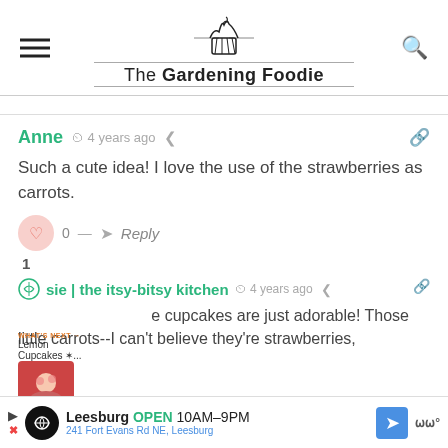[Figure (logo): The Gardening Foodie logo with cupcake icon and site name]
Anne  4 years ago
Such a cute idea! I love the use of the strawberries as carrots.
0 — Reply
1
sie | the itsy-bitsy kitchen  4 years ago
e cupcakes are just adorable! Those little carrots--I can't believe they're strawberries,
[Figure (photo): Thumbnail of cupcakes with WHAT'S NEXT label]
[Figure (infographic): Ad bar: Leesburg OPEN 10AM-9PM 241 Fort Evans Rd NE, Leesburg]